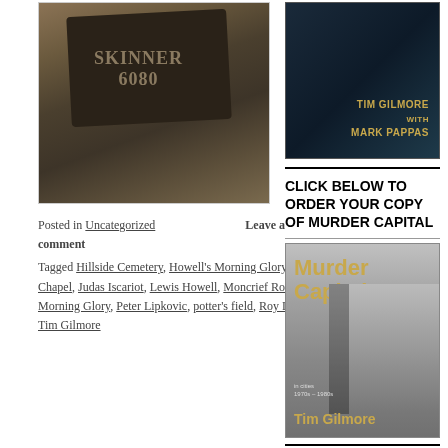[Figure (photo): A flat grave marker stone reading SKINNER 6080 on ground covered with pine needles and dead vegetation]
Posted in Uncategorized   Leave a comment
Tagged Hillside Cemetery, Howell's Morning Glory Chapel, Judas Iscariot, Lewis Howell, Moncrief Road, Morning Glory, Peter Lipkovic, potter's field, Roy Loyche, Tim Gilmore
[Figure (photo): Book cover: dark blue background with Tim Gilmore with Mark Pappas text in gold]
CLICK BELOW TO ORDER YOUR COPY OF MURDER CAPITAL
[Figure (photo): Book cover for Murder Capital by Tim Gilmore, showing yellow title text over black-and-white city scene]
CLICK BELOW TO ORDER YOUR